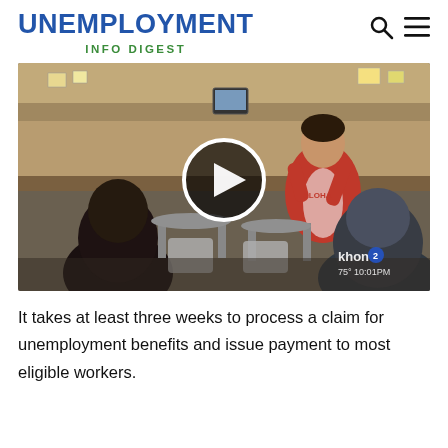UNEMPLOYMENT INFO DIGEST
[Figure (screenshot): Video thumbnail showing an unemployment office waiting room with people seated, a person in a red and white shirt visible at a service counter, with a play button overlay. KHON2 watermark visible with 75° 10:01PM.]
It takes at least three weeks to process a claim for unemployment benefits and issue payment to most eligible workers.